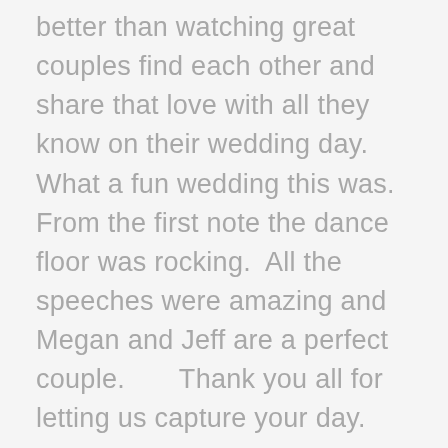better than watching great couples find each other and share that love with all they know on their wedding day. What a fun wedding this was.   From the first note the dance floor was rocking.  All the speeches were amazing and Megan and Jeff are a perfect couple.       Thank you all for letting us capture your day.
Read more